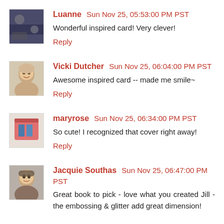Luanne  Sun Nov 25, 05:53:00 PM PST
Wonderful inspired card! Very clever!
Reply
Vicki Dutcher  Sun Nov 25, 06:04:00 PM PST
Awesome inspired card -- made me smile~
Reply
maryrose  Sun Nov 25, 06:34:00 PM PST
So cute! I recognized that cover right away!
Reply
Jacquie Southas  Sun Nov 25, 06:47:00 PM PST
Great book to pick - love what you created Jill - the embossing & glitter add great dimension!